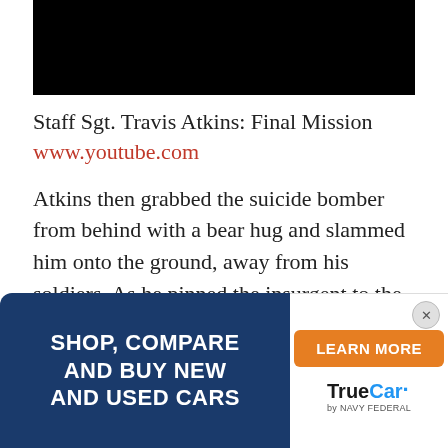[Figure (photo): Black video thumbnail rectangle at top of page]
Staff Sgt. Travis Atkins: Final Mission
www.youtube.com
Atkins then grabbed the suicide bomber from behind with a bear hug and slammed him onto the ground, away from his soldiers. As he pinned the insurgent to the ground, the bomb detonated.
At... bl... is ov... y
[Figure (infographic): TrueCar by Navy Federal advertisement banner: Shop, Compare and Buy New and Used Cars with Learn More button]